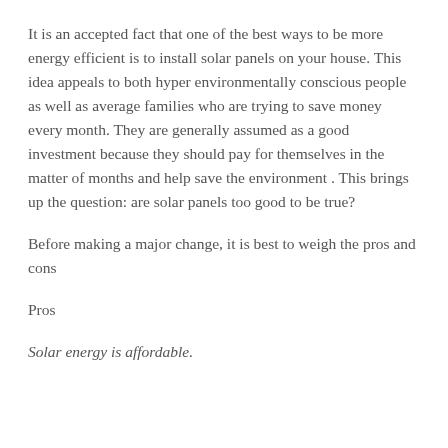It is an accepted fact that one of the best ways to be more energy efficient is to install solar panels on your house. This idea appeals to both hyper environmentally conscious people as well as average families who are trying to save money every month. They are generally assumed as a good investment because they should pay for themselves in the matter of months and help save the environment . This brings up the question: are solar panels too good to be true?
Before making a major change, it is best to weigh the pros and cons
Pros
Solar energy is affordable.